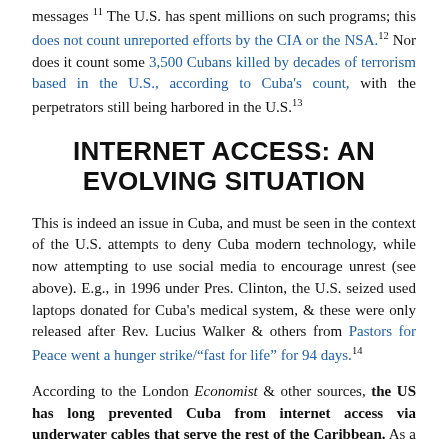messages 11 The U.S. has spent millions on such programs; this does not count unreported efforts by the CIA or the NSA.12 Nor does it count some 3,500 Cubans killed by decades of terrorism based in the U.S., according to Cuba's count, with the perpetrators still being harbored in the U.S.13
INTERNET ACCESS: AN EVOLVING SITUATION
This is indeed an issue in Cuba, and must be seen in the context of the U.S. attempts to deny Cuba modern technology, while now attempting to use social media to encourage unrest (see above). E.g., in 1996 under Pres. Clinton, the U.S. seized used laptops donated for Cuba's medical system, & these were only released after Rev. Lucius Walker & others from Pastors for Peace went a hunger strike/"fast for life" for 94 days.14
According to the London Economist & other sources, the US has long prevented Cuba from internet access via underwater cables that serve the rest of the Caribbean. As a result, Cuba had to access the internet by satellite, which is very expensive and resulted in very limited bandwidth to the